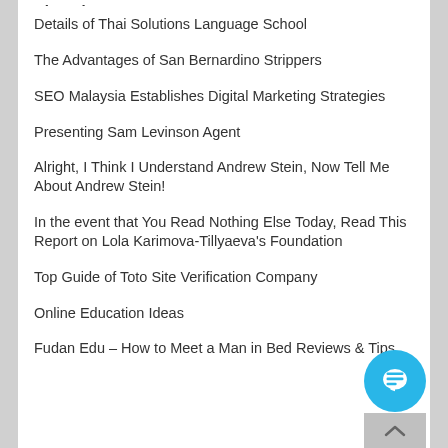Details of Thai Solutions Language School
The Advantages of San Bernardino Strippers
SEO Malaysia Establishes Digital Marketing Strategies
Presenting Sam Levinson Agent
Alright, I Think I Understand Andrew Stein, Now Tell Me About Andrew Stein!
In the event that You Read Nothing Else Today, Read This Report on Lola Karimova-Tillyaeva's Foundation
Top Guide of Toto Site Verification Company
Online Education Ideas
Fudan Edu – How to Meet a Man in Bed Reviews & Tips